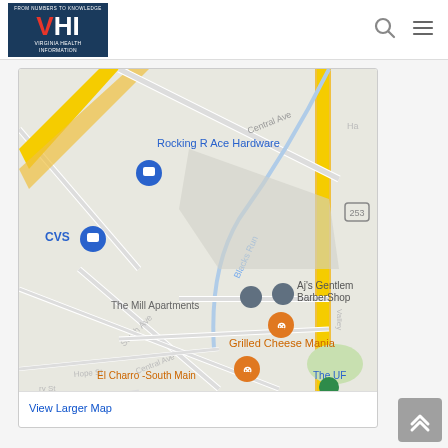[Figure (logo): Virginia Health Information (VHI) logo with mountain graphic, red V and white HI letters, tagline 'FROM NUMBERS TO KNOWLEDGE']
[Figure (map): Google Maps screenshot showing a street map of an area with landmarks including Rocking R Ace Hardware, CVS, The Mill Apartments, Aj's Gentlemen BarberShop, Grilled Cheese Mania, El Charro - South Main, The UF. Streets include Central Ave, South Ave, Blacks Run, Hope St, Valley. Map pins shown in blue and gray.]
View Larger Map